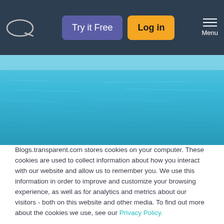[Figure (screenshot): Website navigation bar with logo (oval speech-bubble icon), 'Try it Free' purple button, 'Log in' yellow button, and hamburger Menu icon on dark navy background]
[Figure (photo): Horizontal panoramic photo of calm blue ocean water]
Blogs.transparent.com stores cookies on your computer. These cookies are used to collect information about how you interact with our website and allow us to remember you. We use this information in order to improve and customize your browsing experience, as well as for analytics and metrics about our visitors - both on this website and other media. To find out more about the cookies we use, see our Privacy Policy.
If you decline, your information won't be tracked when you visit this website. A single cookie will be used in your browser to remember your preference not to be tracked.
Accept
Decline